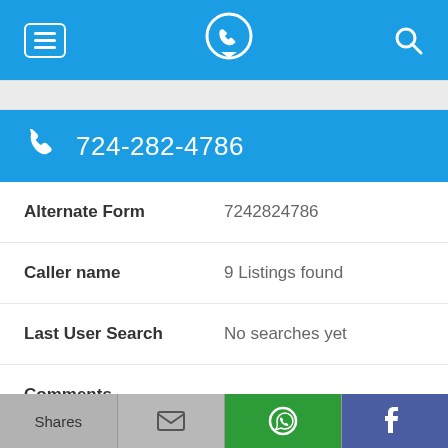Navigation bar with menu, phone locator logo, and search icons
724-282-4786
| Field | Value |
| --- | --- |
| Alternate Form | 7242824786 |
| Caller name | 9 Listings found |
| Last User Search | No searches yet |
| Comments |  |
724-282-4809
Shares | Email | WhatsApp | Facebook